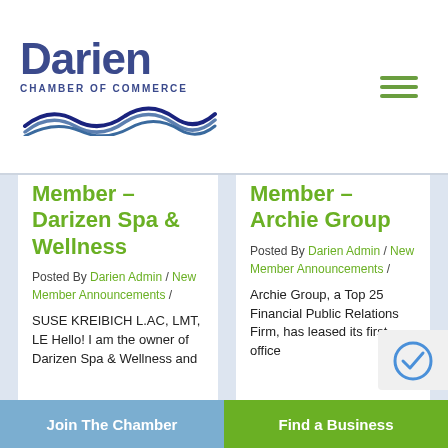[Figure (logo): Darien Chamber of Commerce logo with wave graphic and hamburger menu icon]
Member – Darizen Spa & Wellness
Posted By Darien Admin / New Member Announcements /
SUSE KREIBICH L.AC, LMT, LE Hello! I am the owner of Darizen Spa & Wellness and
Member – Archie Group
Posted By Darien Admin / New Member Announcements /
Archie Group, a Top 25 Financial Public Relations Firm, has leased its first office
Join The Chamber   Find a Business